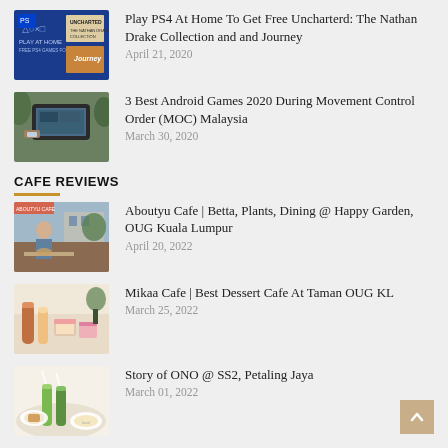[Figure (illustration): PS4 Play At Home promotional image with blue background and game covers]
Play PS4 At Home To Get Free Uncharterd: The Nathan Drake Collection and and Journey
April 21, 2020
[Figure (photo): Person holding a smartphone playing a game outdoors]
3 Best Android Games 2020 During Movement Control Order (MOC) Malaysia
March 30, 2020
CAFE REVIEWS
[Figure (photo): Woman at outdoor cafe, Aboutyu Cafe]
Aboutyu Cafe | Betta, Plants, Dining @ Happy Garden, OUG Kuala Lumpur
April 20, 2022
[Figure (photo): Cafe table with desserts and drinks at Mikaa Cafe]
Mikaa Cafe | Best Dessert Cafe At Taman OUG KL
March 25, 2022
[Figure (photo): Table with green drinks and food at Story of ONO cafe]
Story of ONO @ SS2, Petaling Jaya
March 01, 2022